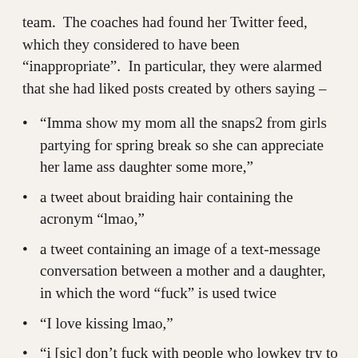team.  The coaches had found her Twitter feed, which they considered to have been “inappropriate”.  In particular, they were alarmed that she had liked posts created by others saying –
“Imma show my mom all the snaps2 from girls partying for spring break so she can appreciate her lame ass daughter some more,”
a tweet about braiding hair containing the acronym “lmao,”
a tweet containing an image of a text-message conversation between a mother and a daughter, in which the word “fuck” is used twice
“I love kissing lmao,”
“i [sic] don’t fuck with people who lowkey try to